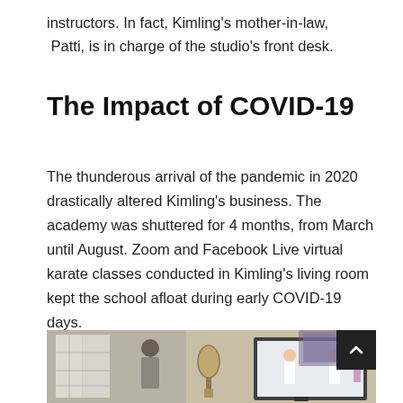instructors. In fact, Kimling’s mother-in-law,  Patti, is in charge of the studio’s front desk.
The Impact of COVID-19
The thunderous arrival of the pandemic in 2020 drastically altered Kimling’s business. The academy was shuttered for 4 months, from March until August. Zoom and Facebook Live virtual karate classes conducted in Kimling’s living room kept the school afloat during early COVID-19 days.
[Figure (photo): A person standing in a living room with white French doors visible on the left, a mirror on the wall in the center, and a TV screen showing a virtual karate class on the right.]